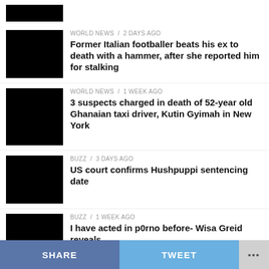[Figure (photo): Small black thumbnail image at top]
WORLD NEWS / 2 days ago — Former Italian footballer beats his ex to death with a hammer, after she reported him for stalking
WORLD NEWS / 1 week ago — 3 suspects charged in death of 52-year old Ghanaian taxi driver, Kutin Gyimah in New York
BUZZ / 3 days ago — US court confirms Hushpuppi sentencing date
BUZZ / 1 week ago — I have acted in p0rno before- Wisa Greid reveals
SHARE   TWEET   ...